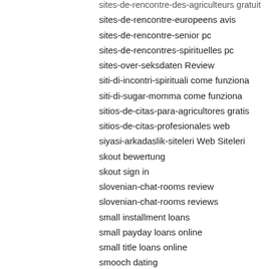sites-de-rencontre-des-agriculteurs gratuit
sites-de-rencontre-europeens avis
sites-de-rencontre-senior pc
sites-de-rencontres-spirituelles pc
sites-over-seksdaten Review
siti-di-incontri-spirituali come funziona
siti-di-sugar-momma come funziona
sitios-de-citas-para-agricultores gratis
sitios-de-citas-profesionales web
siyasi-arkadaslik-siteleri Web Siteleri
skout bewertung
skout sign in
slovenian-chat-rooms review
slovenian-chat-rooms reviews
small installment loans
small payday loans online
small title loans online
smooch dating
Smooch visitors